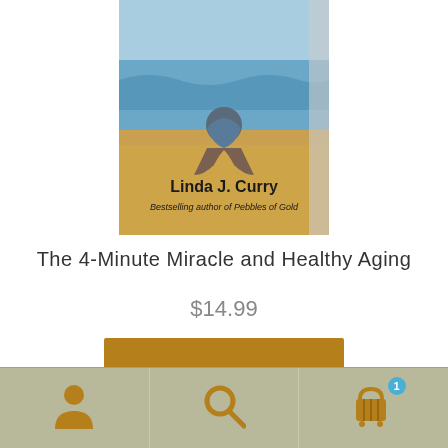[Figure (illustration): Book cover showing a person sitting by water with beach/sky background. Author name 'Linda J. Curry' and subtitle 'Bestselling author of Pebbles of Gold' visible on cover.]
The 4-Minute Miracle and Healthy Aging
$14.99
Add to cart
Now..... FREE SHIPPING available on all orders
Dismiss